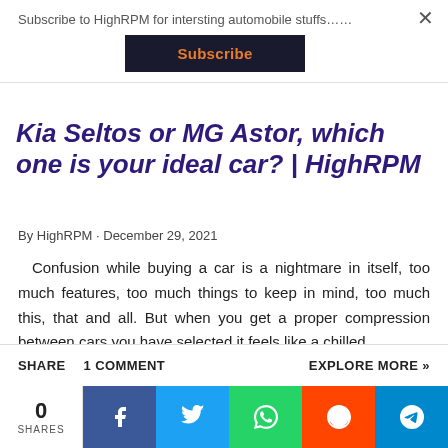Subscribe to HighRPM for intersting automobile stuffs……
Subscribe
Kia Seltos or MG Astor, which one is your ideal car? | HighRPM
By HighRPM · December 29, 2021
Confusion while buying a car is a nightmare in itself, too much features, too much things to keep in mind, too much this, that and all. But when you get a proper compression between cars you have selected it feels like a chilled …
SHARE   1 COMMENT   EXPLORE MORE »
0 SHARES